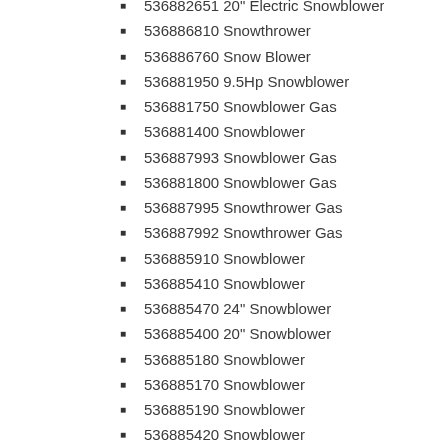536882651 20" Electric Snowblower
536886810 Snowthrower
536886760 Snow Blower
536881950 9.5Hp Snowblower
536881750 Snowblower Gas
536881400 Snowblower
536887993 Snowblower Gas
536881800 Snowblower Gas
536887995 Snowthrower Gas
536887992 Snowthrower Gas
536885910 Snowblower
536885410 Snowblower
536885470 24" Snowblower
536885400 20" Snowblower
536885180 Snowblower
536885170 Snowblower
536885190 Snowblower
536885420 Snowblower
536885471 Snowblower